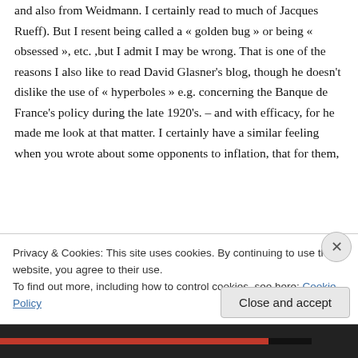and also from Weidmann. I certainly read to much of Jacques Rueff). But I resent being called a « golden bug » or being « obsessed », etc. ,but I admit I may be wrong. That is one of the reasons I also like to read David Glasner's blog, though he doesn't dislike the use of « hyperboles » e.g. concerning the Banque de France's policy during the late 1920's. – and with efficacy, for he made me look at that matter. I certainly have a similar feeling when you wrote about some opponents to inflation, that for them,
Privacy & Cookies: This site uses cookies. By continuing to use this website, you agree to their use.
To find out more, including how to control cookies, see here: Cookie Policy